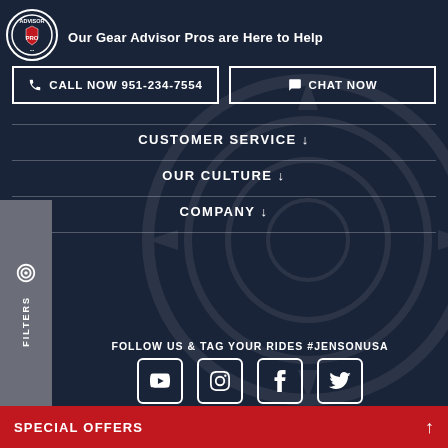[Figure (logo): Gear Advisor Pro circular logo with shield icon]
Our Gear Advisor Pros are Here to Help
CALL NOW 951-234-7554
CHAT NOW
CUSTOMER SERVICE ↓
OUR CULTURE ↓
COMPANY ↓
FILTERS
FOLLOW US & TAG YOUR RIDES #JENSONUSA
[Figure (illustration): Social media icons: YouTube, Instagram, Facebook, Twitter]
SPECIAL OFFERS